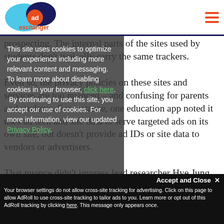AdExchanger logo and navigation
prospecting. The internal parts of the sites used by students don't typically carry the same trackers.
Even so, the privacy policies on these sites and services are too nuanced – and confusing for parents and students. For instance, one education app noted it uses ad tech and site data to serve targeted ads on its own site, but doesn't provide ad IDs or site data to vendors or advertisers.
This site uses cookies to optimize your experience including more relevant content and messaging. To learn more about disabling cookies in your browser, click here. By continuing to use this site, you accept our use of cookies. For more information, view our updated Privacy Policy.
That nuance didn't impress lead researcher Hye Jung Han, who notes in the study that 'children
Your browser settings do not allow cross-site tracking for advertising. Click on this page to allow AdRoll to use cross-site tracking to tailor ads to you. Learn more or opt out of this AdRoll tracking by clicking here. This message only appears once.